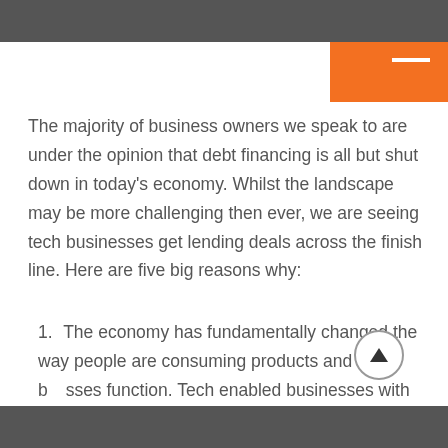The majority of business owners we speak to are under the opinion that debt financing is all but shut down in today’s economy. Whilst the landscape may be more challenging then ever, we are seeing tech businesses get lending deals across the finish line. Here are five big reasons why:
1. The economy has fundamentally changed the way people are consuming products and how businesses function. Tech enabled businesses with strong